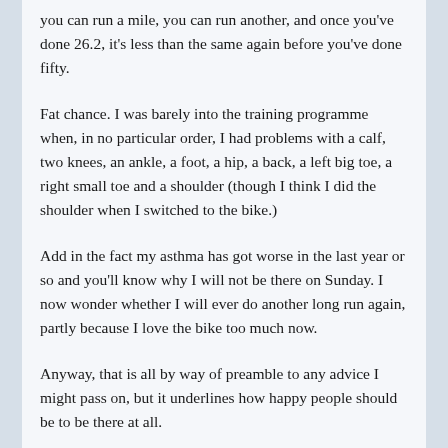you can run a mile, you can run another, and once you've done 26.2, it's less than the same again before you've done fifty.
Fat chance. I was barely into the training programme when, in no particular order, I had problems with a calf, two knees, an ankle, a foot, a hip, a back, a left big toe, a right small toe and a shoulder (though I think I did the shoulder when I switched to the bike.)
Add in the fact my asthma has got worse in the last year or so and you'll know why I will not be there on Sunday. I now wonder whether I will ever do another long run again, partly because I love the bike too much now.
Anyway, that is all by way of preamble to any advice I might pass on, but it underlines how happy people should be to be there at all.